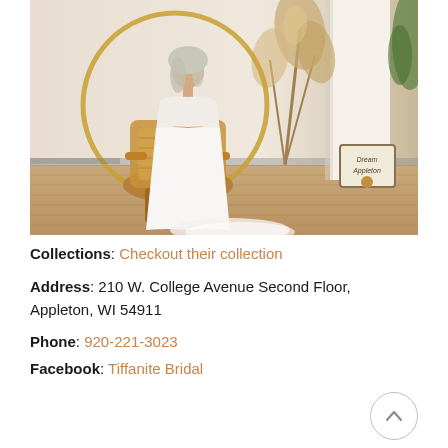[Figure (photo): Woman wearing a white wedding dress sitting in a large round wicker peacock chair in a bridal boutique setting, with pampas grass decoration and wooden floor background.]
Collections: Checkout their collection
Address: 210 W. College Avenue Second Floor, Appleton, WI 54911
Phone: 920-221-3023
Facebook: Tiffanite Bridal